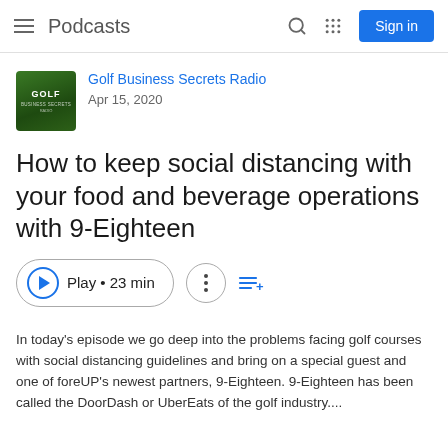Podcasts
Golf Business Secrets Radio
Apr 15, 2020
How to keep social distancing with your food and beverage operations with 9-Eighteen
Play • 23 min
In today's episode we go deep into the problems facing golf courses with social distancing guidelines and bring on a special guest and one of foreUP's newest partners, 9-Eighteen. 9-Eighteen has been called the DoorDash or UberEats of the golf industry....